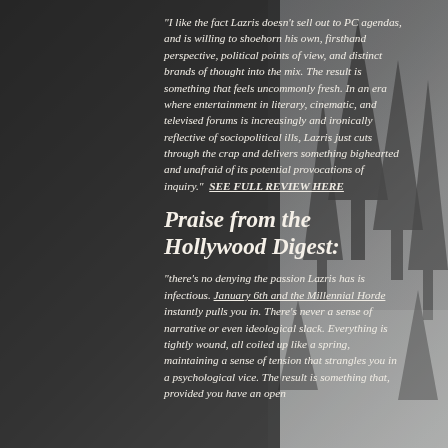"I like the fact Lazris doesn't sell out to PC agendas, and is willing to shoehorn his own, firsthand perspective, political points of view, and distinct brands of thought into the mix. The result is something that feels uncommonly fresh. In an era where entertainment in literary, cinematic, and televised forums is increasingly and ironically reflective of sociopolitical ills, Lazris just cuts through the crap and delivers something bighearted and unafraid of its potential provocations of inquiry."  SEE FULL REVIEW HERE
Praise from the Hollywood Digest:
"there's no denying the passion Lazris has is infectious. January 6th and the Millennial Horde instantly pulls you in. There's never a sense of narrative or even ideological slack. Everything is tightly wound, all coiled up like a spring, maintaining a sense of tension that strangles you in a psychological vice. The result is something that, provided you have an open